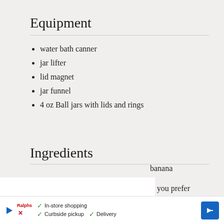Equipment
water bath canner
jar lifter
lid magnet
jar funnel
4 oz Ball jars with lids and rings
Ingredients
banana
if you prefer
peppers
3/4 cups apple cider vinegar
[Figure (other): Advertisement banner for in-store shopping, curbside pickup, and delivery service with logo and navigation arrow icon]